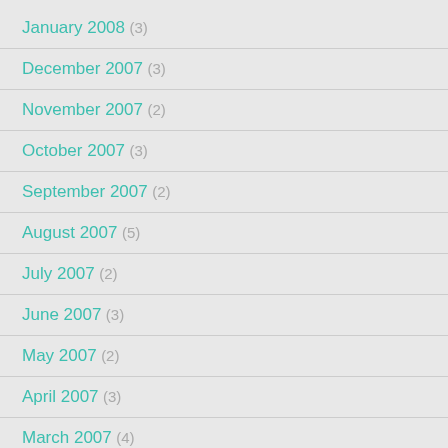January 2008 (3)
December 2007 (3)
November 2007 (2)
October 2007 (3)
September 2007 (2)
August 2007 (5)
July 2007 (2)
June 2007 (3)
May 2007 (2)
April 2007 (3)
March 2007 (4)